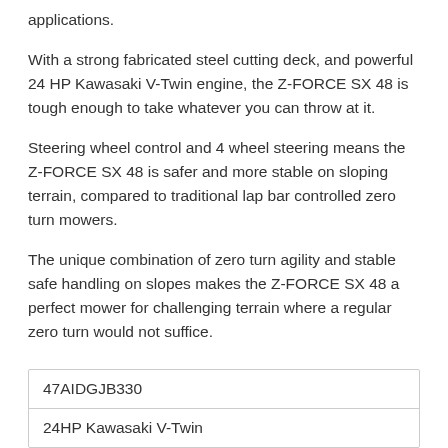applications.
With a strong fabricated steel cutting deck, and powerful 24 HP Kawasaki V-Twin engine, the Z-FORCE SX 48 is tough enough to take whatever you can throw at it.
Steering wheel control and 4 wheel steering means the Z-FORCE SX 48 is safer and more stable on sloping terrain, compared to traditional lap bar controlled zero turn mowers.
The unique combination of zero turn agility and stable safe handling on slopes makes the Z-FORCE SX 48 a perfect mower for challenging terrain where a regular zero turn would not suffice.
| 47AIDGJB330 |
| 24HP Kawasaki V-Twin |